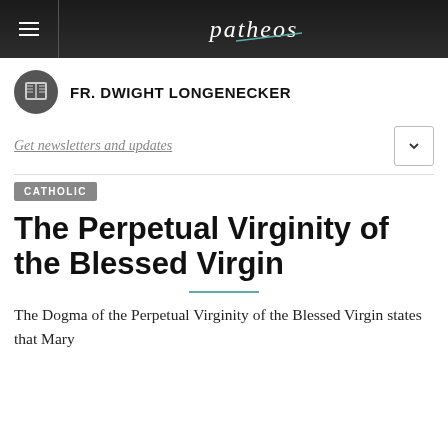patheos
FR. DWIGHT LONGENECKER
Get newsletters and updates
CATHOLIC
The Perpetual Virginity of the Blessed Virgin
The Dogma of the Perpetual Virginity of the Blessed Virgin states that Mary